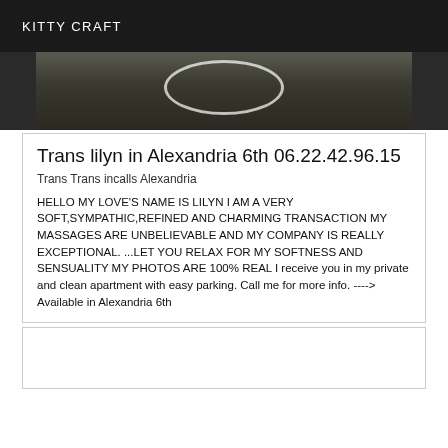KITTY CRAFT
[Figure (photo): Partial photo showing what appears to be a white oval/dish shape against a dark outdoor background with rocks or gravel]
Trans lilyn in Alexandria 6th 06.22.42.96.15
Trans Trans incalls Alexandria
HELLO MY LOVE'S NAME IS LILYN I AM A VERY SOFT,SYMPATHIC,REFINED AND CHARMING TRANSACTION MY MASSAGES ARE UNBELIEVABLE AND MY COMPANY IS REALLY EXCEPTIONAL. ...LET YOU RELAX FOR MY SOFTNESS AND SENSUALITY MY PHOTOS ARE 100% REAL I receive you in my private and clean apartment with easy parking. Call me for more info. ----> Available in Alexandria 6th
[Figure (photo): Second listing card, appears blank/empty in this view]